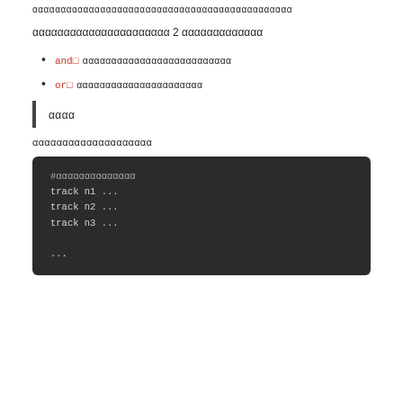ααααααααααααααααααααααααααααααααααααααααααα
αααααααααααααααααααααα 2 ααααααααααααα
and□ αααααααααααααααααααααααααα
or□ αααααααααααααααααααααα
αααα
αααααααααααααααααααα
#αααααααααααααα
track n1 ...
track n2 ...
track n3 ...

...